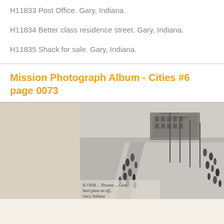H11833 Post Office. Gary, Indiana.
H11834 Better class residence street. Gary, Indiana.
H11835 Shack for sale. Gary, Indiana.
Mission Photograph Album - Cities #6 page 0073
[Figure (photo): Black and white historical photograph showing a wide street or boulevard with people walking along the sides, utility poles, and a large building in the background. Handwritten caption at bottom reads 'H11836 ... Steel plant ... Gary, Indiana']